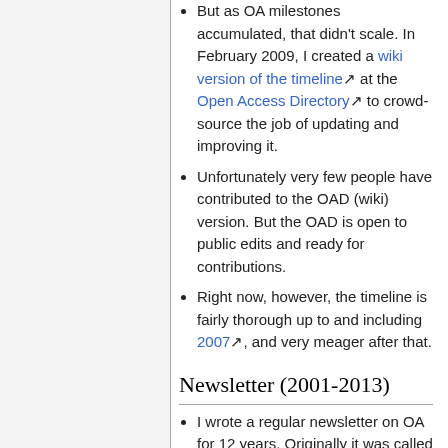But as OA milestones accumulated, that didn't scale. In February 2009, I created a wiki version of the timeline at the Open Access Directory to crowd-source the job of updating and improving it.
Unfortunately very few people have contributed to the OAD (wiki) version. But the OAD is open to public edits and ready for contributions.
Right now, however, the timeline is fairly thorough up to and including 2007, and very meager after that.
Newsletter (2001-2013)
I wrote a regular newsletter on OA for 12 years. Originally it was called the